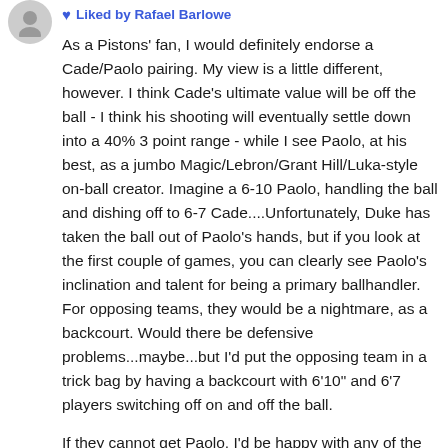Liked by Rafael Barlowe
As a Pistons' fan, I would definitely endorse a Cade/Paolo pairing. My view is a little different, however. I think Cade's ultimate value will be off the ball - I think his shooting will eventually settle down into a 40% 3 point range - while I see Paolo, at his best, as a jumbo Magic/Lebron/Grant Hill/Luka-style on-ball creator. Imagine a 6-10 Paolo, handling the ball and dishing off to 6-7 Cade....Unfortunately, Duke has taken the ball out of Paolo's hands, but if you look at the first couple of games, you can clearly see Paolo's inclination and talent for being a primary ballhandler. For opposing teams, they would be a nightmare, as a backcourt. Would there be defensive problems...maybe...but I'd put the opposing team in a trick bag by having a backcourt with 6'10" and 6'7 players switching off on and off the ball.
If they cannot get Paolo, I'd be happy with any of the